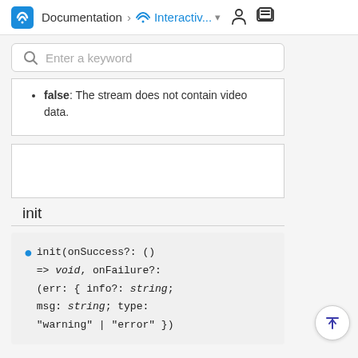Documentation > Interactiv...
Enter a keyword
false: The stream does not contain video data.
init
init(onSuccess?: () => void, onFailure?: (err: { info?: string; msg: string; type: "warning" | "error" })